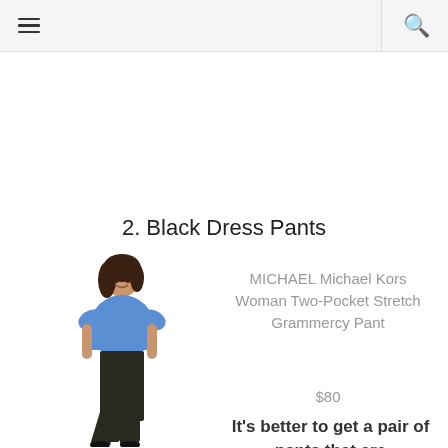≡  🔍
2. Black Dress Pants
[Figure (photo): Woman wearing a blue top and black flared dress pants, standing and smiling]
MICHAEL Michael Kors Woman Two-Pocket Stretch Grammercy Pant
$80
It's better to get a pair of pants that are